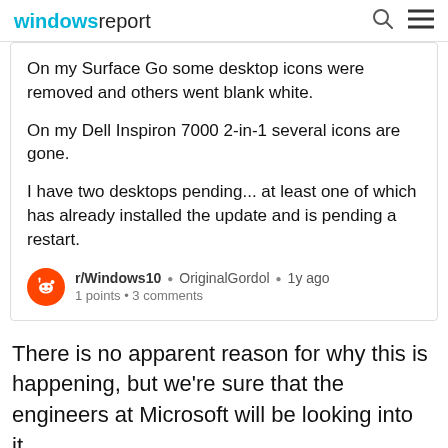windowsreport
On my Surface Go some desktop icons were removed and others went blank white.

On my Dell Inspiron 7000 2-in-1 several icons are gone.

I have two desktops pending... at least one of which has already installed the update and is pending a restart.
r/Windows10 • OriginalGordol • 1y ago
1 points • 3 comments
There is no apparent reason for why this is happening, but we're sure that the engineers at Microsoft will be looking into it.
Can't install KB5005033